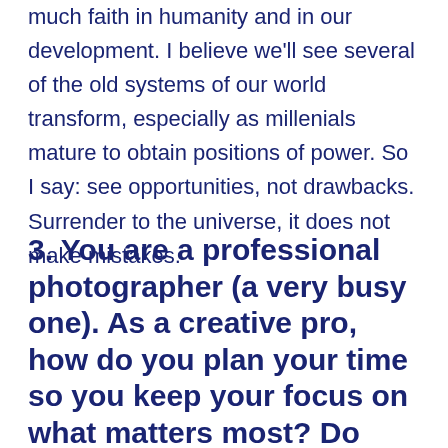much faith in humanity and in our development. I believe we'll see several of the old systems of our world transform, especially as millenials mature to obtain positions of power. So I say: see opportunities, not drawbacks. Surrender to the universe, it does not make mistakes.
3. You are a professional photographer (a very busy one). As a creative pro, how do you plan your time so you keep your focus on what matters most? Do you have your own system or a method?